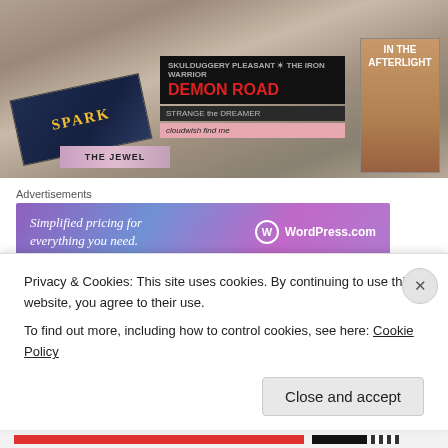[Figure (photo): Photo of several books laid on a surface including Spark, The Jewel, Demon Road, In the Afterlight, and others]
Advertisements
[Figure (infographic): WordPress.com advertisement banner reading 'Simplified pricing for everything you need.']
The Jewel*, by Amy Ewing
Something Reviewed Soon
Privacy & Cookies: This site uses cookies. By continuing to use this website, you agree to their use.
To find out more, including how to control cookies, see here: Cookie Policy
Close and accept